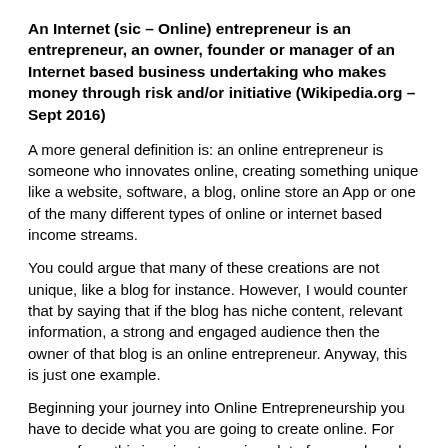An Internet (sic – Online) entrepreneur is an entrepreneur, an owner, founder or manager of an Internet based business undertaking who makes money through risk and/or initiative (Wikipedia.org – Sept 2016)
A more general definition is: an online entrepreneur is someone who innovates online, creating something unique like a website, software, a blog, online store an App or one of the many different types of online or internet based income streams.
You could argue that many of these creations are not unique, like a blog for instance. However, I would counter that by saying that if the blog has niche content, relevant information, a strong and engaged audience then the owner of that blog is an online entrepreneur. Anyway, this is just one example.
Beginning your journey into Online Entrepreneurship you have to decide what you are going to create online. For many of you this is going to require a lot of research and